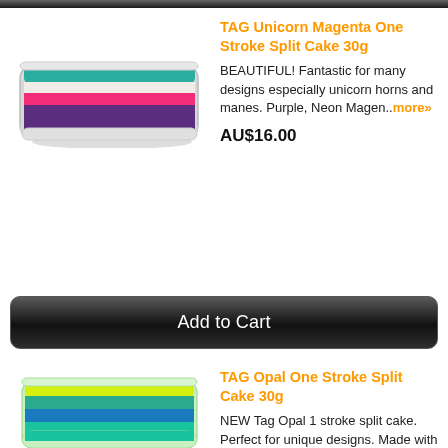[Figure (photo): TAG Unicorn Magenta One Stroke Split Cake 30g product image - a rectangular face paint cake with stripes of teal, white, neon pink, and purple in a white container]
TAG Unicorn Magenta One Stroke Split Cake 30g
BEAUTIFUL! Fantastic for many designs especially unicorn horns and manes. Purple, Neon Magen..more»
AU$16.00
Add to Cart
[Figure (photo): TAG Opal One Stroke Split Cake 30g product image - a rectangular face paint cake with stripes of chartreuse/lime, teal, blue, and turquoise in a transparent container]
TAG Opal One Stroke Split Cake 30g
NEW Tag Opal 1 stroke split cake. Perfect for unique designs. Made with pearl colours. Consi..more»
AU$15.00